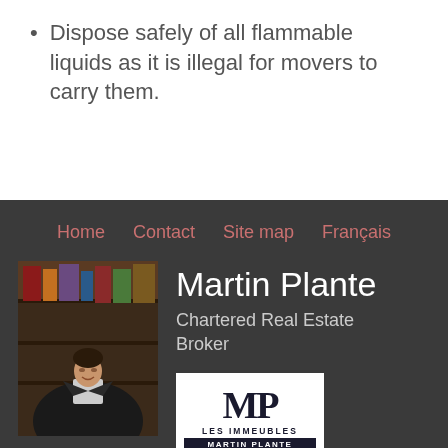Dispose safely of all flammable liquids as it is illegal for movers to carry them.
[Figure (screenshot): Website footer navigation bar with links: Home, Contact, Site map, Français, followed by a profile section showing Martin Plante's photo, title 'Chartered Real Estate Broker', and the Les Immeubles Martin Plante agency logo]